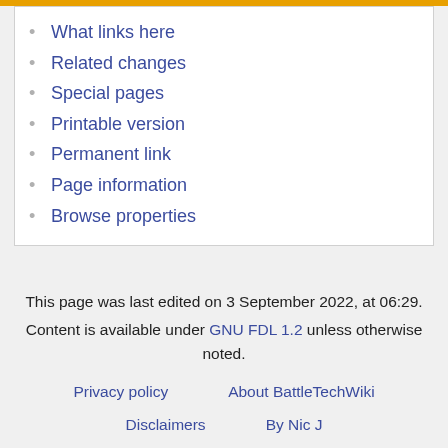What links here
Related changes
Special pages
Printable version
Permanent link
Page information
Browse properties
This page was last edited on 3 September 2022, at 06:29.
Content is available under GNU FDL 1.2 unless otherwise noted.
Privacy policy   About BattleTechWiki   Disclaimers   By Nic J   Support Sarna! Merch / Bitcoin / Paypal   Manage Cookies